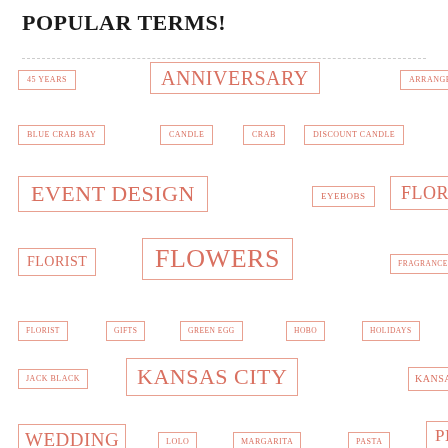POPULAR TERMS!
45 YEARS
ANNIVERSARY
ARRANGEMENTS
BLOGGER
BLUE CRAB BAY
CANDLE
CRAB
DISCOUNT CANDLE
EVENT DESIGN
EYEBOBS
FLORAL
FLORIST
FLOWERS
FRAGRANCE
FTD
FLORIST
GIFTS
GREEN EGG
HOBO
HOLIDAYS
INTERIORS
JACK BLACK
KANSAS CITY
KANSAS CITY
WEDDING
LOLO
MARGARITA
PASTA
PEONY